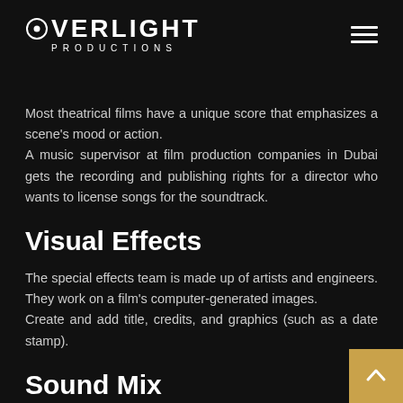OVERLIGHT PRODUCTIONS
Most theatrical films have a unique score that emphasizes a scene's mood or action.
A music supervisor at film production companies in Dubai gets the recording and publishing rights for a director who wants to license songs for the soundtrack.
Visual Effects
The special effects team is made up of artists and engineers. They work on a film's computer-generated images.
Create and add title, credits, and graphics (such as a date stamp).
Sound Mix
After all of the audio recordings have been completed, sound